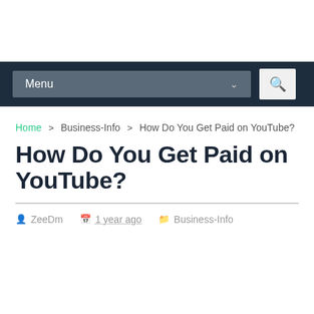Menu [dropdown] [search button]
Home > Business-Info > How Do You Get Paid on YouTube?
How Do You Get Paid on YouTube?
ZeeDm  1 year ago  Business-Info